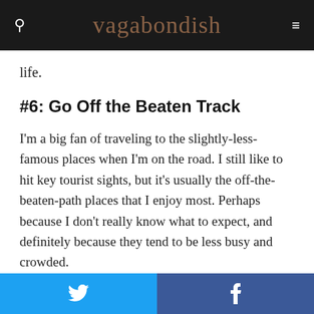vagabondish
life.
#6: Go Off the Beaten Track
I'm a big fan of traveling to the slightly-less-famous places when I'm on the road. I still like to hit key tourist sights, but it's usually the off-the-beaten-path places that I enjoy most. Perhaps because I don't really know what to expect, and definitely because they tend to be less busy and crowded.
Twitter | Facebook